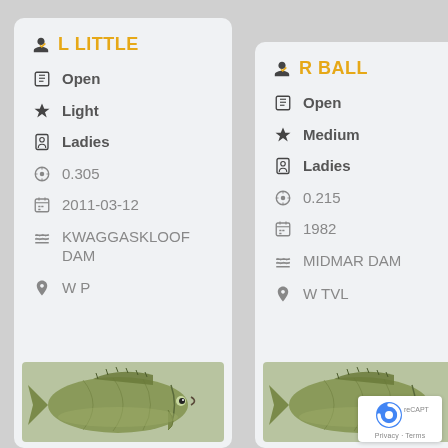L LITTLE — Open, Light, Ladies, 0.305, 2011-03-12, KWAGGASKLOOF DAM, W P
R BALL — Open, Medium, Ladies, 0.215, 1982, MIDMAR DAM, W TVL
[Figure (photo): Fish (bass) photo in left card bottom]
[Figure (photo): Fish (bass) photo in right card bottom]